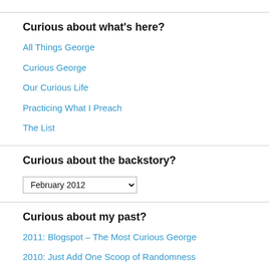Curious about what's here?
All Things George
Curious George
Our Curious Life
Practicing What I Preach
The List
Curious about the backstory?
February 2012 [dropdown]
Curious about my past?
2011: Blogspot – The Most Curious George
2010: Just Add One Scoop of Randomness
2008-2010: Immeasurably More…